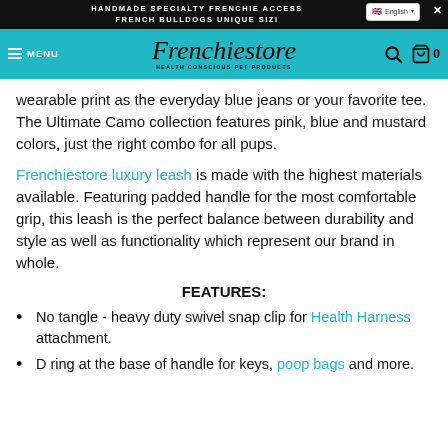HANDMADE SPECIALTY FRENCHIE ACCESS FRENCH BULLDOGS UNIQUE SIZI
Frenchiestore HEALTH CONSCIOUS PET PRODUCTS MENU
wearable print as the everyday blue jeans or your favorite tee. The Ultimate Camo collection features pink, blue and mustard colors, just the right combo for all pups.
Frenchiestore luxury leash is made with the highest materials available. Featuring padded handle for the most comfortable grip, this leash is the perfect balance between durability and style as well as functionality which represent our brand in whole.
FEATURES:
No tangle - heavy duty swivel snap clip for Health Harness attachment.
D ring at the base of handle for keys, poop bags and more.